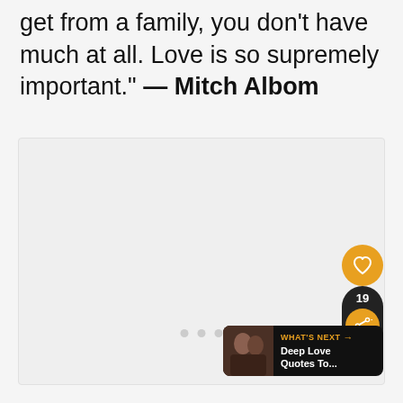get from a family, you don't have much at all. Love is so supremely important." — Mitch Albom
[Figure (other): Empty light gray image placeholder with rounded border inside a quote/slideshow interface]
[Figure (other): UI overlay: orange heart/like button, black share pill showing count 19 and orange share icon, 'WHAT'S NEXT' banner with thumbnail and 'Deep Love Quotes To...' text, and three dot navigation indicators]